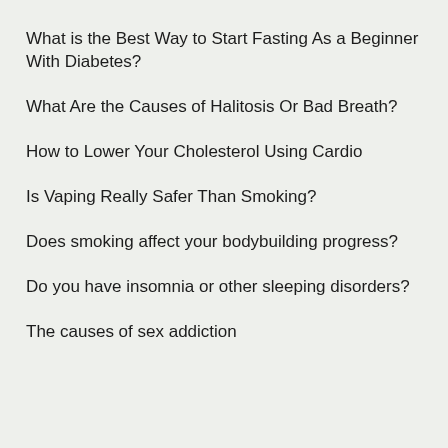What is the Best Way to Start Fasting As a Beginner With Diabetes?
What Are the Causes of Halitosis Or Bad Breath?
How to Lower Your Cholesterol Using Cardio
Is Vaping Really Safer Than Smoking?
Does smoking affect your bodybuilding progress?
Do you have insomnia or other sleeping disorders?
The causes of sex addiction